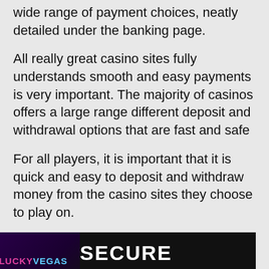wide range of payment choices, neatly detailed under the banking page.
All really great casino sites fully understands smooth and easy payments is very important. The majority of casinos offers a large range different deposit and withdrawal options that are fast and safe
For all players, it is important that it is quick and easy to deposit and withdraw money from the casino sites they choose to play on.
[Figure (illustration): Lucky Vegas Online Casino banner with dark purple left section showing the Lucky Vegas logo and black right section with white bold text reading SECURE CASINO]
Is Lucky Vegas secure?
Online casinos in the UK has never been safer